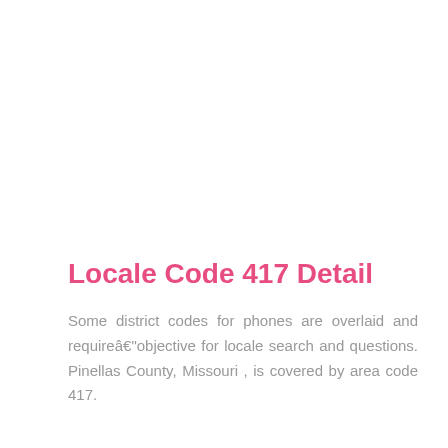Locale Code 417 Detail
Some district codes for phones are overlaid and requireâ€"objective for locale search and questions. Pinellas County, Missouri , is covered by area code 417.